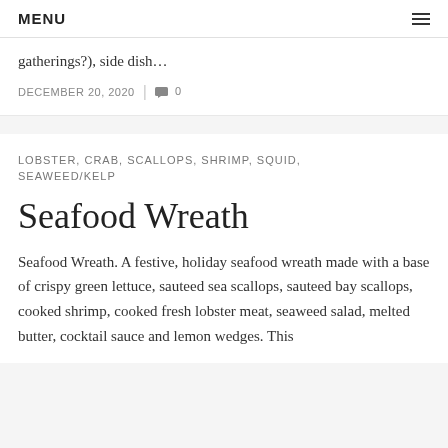MENU
gatherings?), side dish…
DECEMBER 20, 2020 | 0
LOBSTER, CRAB, SCALLOPS, SHRIMP, SQUID, SEAWEED/KELP
Seafood Wreath
Seafood Wreath. A festive, holiday seafood wreath made with a base of crispy green lettuce, sauteed sea scallops, sauteed bay scallops, cooked shrimp, cooked fresh lobster meat, seaweed salad, melted butter, cocktail sauce and lemon wedges. This